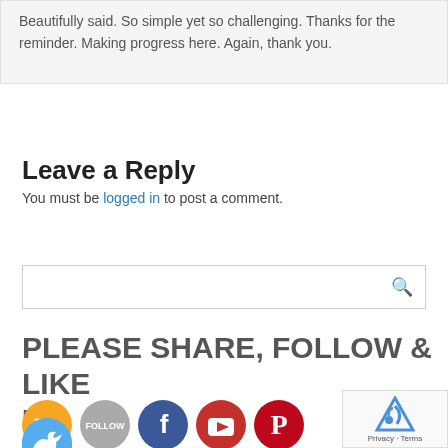Beautifully said. So simple yet so challenging. Thanks for the reminder. Making progress here. Again, thank you.
Leave a Reply
You must be logged in to post a comment.
[Figure (other): Search input box with magnifying glass icon]
PLEASE SHARE, FOLLOW & LIKE US
[Figure (other): Social media icons: RSS (orange), Follow (gray), Facebook (blue), YouTube (red), Pinterest (red), and partial Twitter (blue) icon at bottom]
[Figure (other): reCAPTCHA widget with robot icon and Privacy · Terms text]